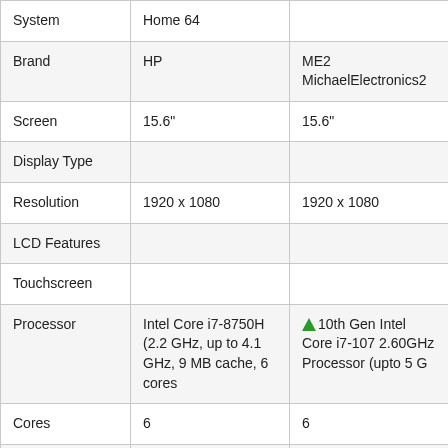|  |  |  |
| --- | --- | --- |
| System | Home 64 |  |
| Brand | HP | ME2 MichaelElectronics2 |
| Screen | 15.6" | 15.6" |
| Display Type |  |  |
| Resolution | 1920 x 1080 | 1920 x 1080 |
| LCD Features |  |  |
| Touchscreen |  |  |
| Processor | Intel Core i7-8750H (2.2 GHz, up to 4.1 GHz, 9 MB cache, 6 cores | ↑10th Gen Intel Core i7-107 2.60GHz Processor (upto 5 G |
| Cores | 6 | 6 |
| Base Frequency |  |  |